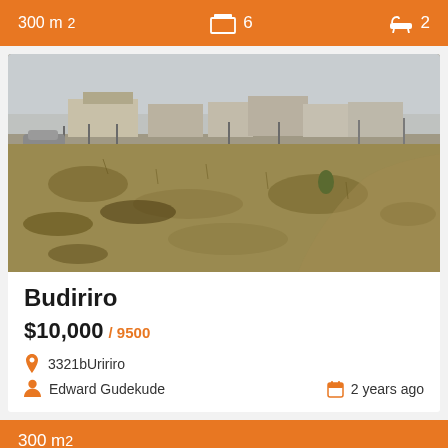300 m²  6  2
[Figure (photo): Vacant land plot with dry grass and scrub, with residential buildings and fencing visible in the background under a hazy sky]
Budiriro
$10,000 / 9500
3321bUririro
Edward Gudekude
2 years ago
300 m²